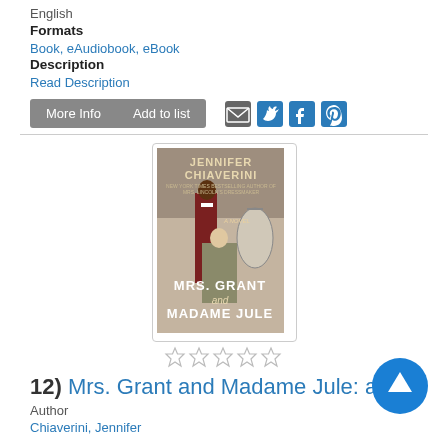English
Formats
Book, eAudiobook, eBook
Description
Read Description
[Figure (screenshot): More Info and Add to list buttons with social sharing icons (email, Twitter, Facebook, Pinterest)]
[Figure (photo): Book cover of Mrs. Grant and Madame Jule by Jennifer Chiaverini, showing two women in historical dress]
[Figure (other): Five empty star rating icons]
12)  Mrs. Grant and Madame Jule: a no...
Author
Chiaverini, Jennifer